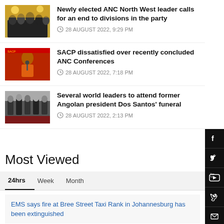[Figure (photo): Group photo at ANC event, yellow and green stage backdrop]
Newly elected ANC North West leader calls for an end to divisions in the party
28 AUGUST 2022, 9:29 PM
[Figure (photo): Man in orange shirt speaking at podium with SACP branding]
SACP dissatisfied over recently concluded ANC Conferences
28 AUGUST 2022, 7:18 PM
[Figure (photo): Group of suited officials standing in formal setting]
Several world leaders to attend former Angolan president Dos Santos' funeral
28 AUGUST 2022, 2:13 PM
Most Viewed
24hrs   Week   Month
EMS says fire at Bree Street Taxi Rank in Johannesburg has been extinguished